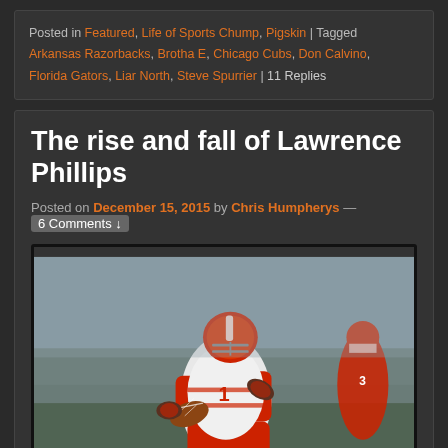Posted in Featured, Life of Sports Chump, Pigskin | Tagged Arkansas Razorbacks, Brotha E, Chicago Cubs, Don Calvino, Florida Gators, Liar North, Steve Spurrier | 11 Replies
The rise and fall of Lawrence Phillips
Posted on December 15, 2015 by Chris Humpherys — 6 Comments ↓
[Figure (photo): A football player wearing a white and red uniform with number 1, carrying the ball and running, with another player in red visible in the background.]
In the wake of the nation's most dominant college running back winning the Heisman Trophy, I couldn't